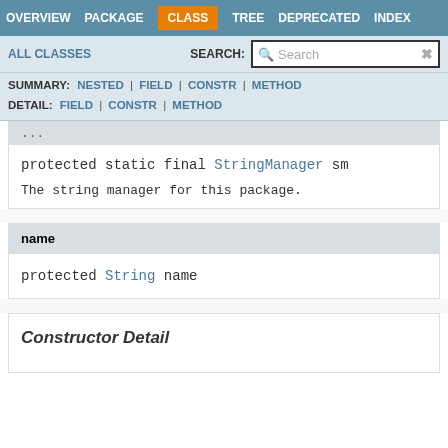OVERVIEW  PACKAGE  CLASS  TREE  DEPRECATED  INDEX
ALL CLASSES   SEARCH:  Search
SUMMARY: NESTED | FIELD | CONSTR | METHOD  DETAIL: FIELD | CONSTR | METHOD
...
protected static final StringManager sm
The string manager for this package.
name
protected String name
Constructor Detail